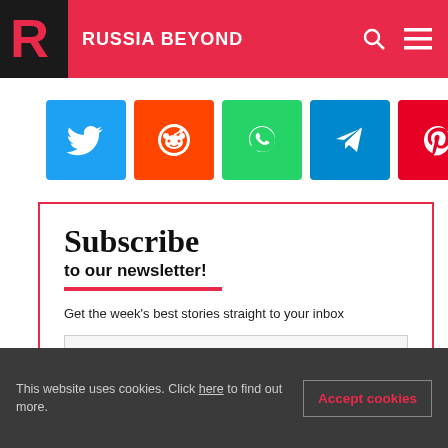RUSSIA BEYOND
[Figure (other): Social sharing icons: Twitter (blue), Reddit (orange), WhatsApp (green), Telegram (blue), Pinterest (red)]
Subscribe
to our newsletter!
Get the week's best stories straight to your inbox
Enter your email
Submit
This website uses cookies. Click here to find out more.
Accept cookies